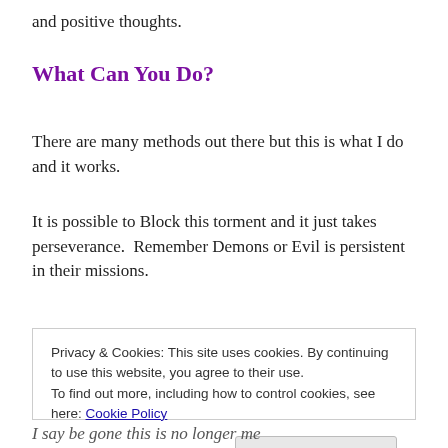and positive thoughts.
What Can You Do?
There are many methods out there but this is what I do and it works.
It is possible to Block this torment and it just takes perseverance.  Remember Demons or Evil is persistent in their missions.
Privacy & Cookies: This site uses cookies. By continuing to use this website, you agree to their use.
To find out more, including how to control cookies, see here: Cookie Policy
[Close and accept button]
I say be gone this is no longer me